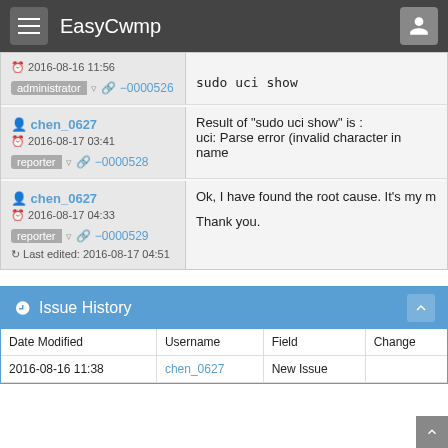EasyCwmp
2016-08-16 11:56 | administrator | ~0000526 | sudo uci show
chen_0627 | 2016-08-17 03:41 | reporter | ~0000528 | Result of "sudo uci show" is : uci: Parse error (invalid character in name
chen_0627 | 2016-08-17 04:33 | reporter | ~0000529 | Ok, I have found the root cause. It's my m Thank you. | Last edited: 2016-08-17 04:51
Issue History
| Date Modified | Username | Field | Change |
| --- | --- | --- | --- |
| 2016-08-16 11:38 | chen_0627 | New Issue |  |